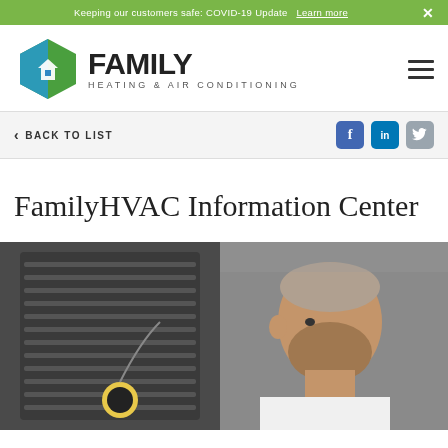Keeping our customers safe: COVID-19 Update  Learn more  ×
[Figure (logo): Family Heating & Air Conditioning logo with hexagon icon and company name]
< BACK TO LIST
[Figure (other): Social media icons: Facebook, LinkedIn, Twitter]
FamilyHVAC Information Center
[Figure (photo): HVAC technician working on outdoor air conditioning unit, man with beard in white shirt examining equipment with gauges]